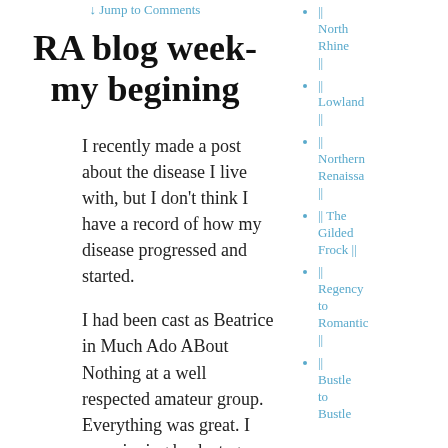↓ Jump to Comments
RA blog week- my begining
I recently made a post about the disease I live with, but I don't think I have a record of how my disease progressed and started.
I had been cast as Beatrice in Much Ado ABout Nothing at a well respected amateur group. Everything was great. I was zipping back stage, and even doing semi pratfalls on stage during the scene where Beatrice is tricked into thinking Bendick liked her. I was doing a spot of
|| North Rhine ||
|| Lowland ||
|| Northern Renaissa ||
|| The Gilded Frock ||
|| Regency to Romantic ||
|| Bustle to Bustle